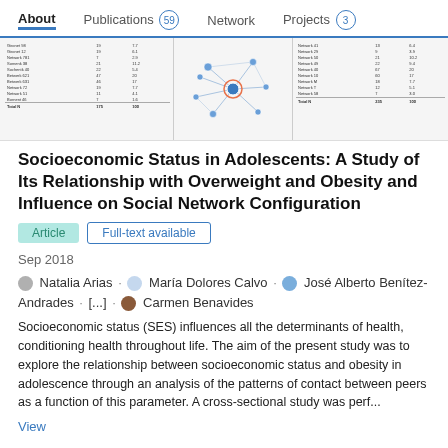About  Publications 59  Network  Projects 3
[Figure (screenshot): Thumbnail preview of publication showing two data tables and a social network graph diagram in the middle]
Socioeconomic Status in Adolescents: A Study of Its Relationship with Overweight and Obesity and Influence on Social Network Configuration
Article  Full-text available
Sep 2018
Natalia Arias · María Dolores Calvo · José Alberto Benítez-Andrades · [...] · Carmen Benavides
Socioeconomic status (SES) influences all the determinants of health, conditioning health throughout life. The aim of the present study was to explore the relationship between socioeconomic status and obesity in adolescence through an analysis of the patterns of contact between peers as a function of this parameter. A cross-sectional study was perf...
View